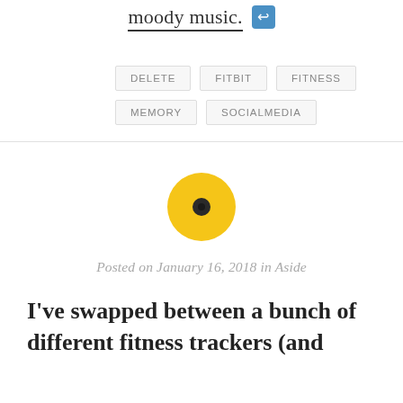moody music.
DELETE
FITBIT
FITNESS
MEMORY
SOCIALMEDIA
[Figure (illustration): Yellow circle record/vinyl icon with dark center dot]
Posted on January 16, 2018 in Aside
I've swapped between a bunch of different fitness trackers (and